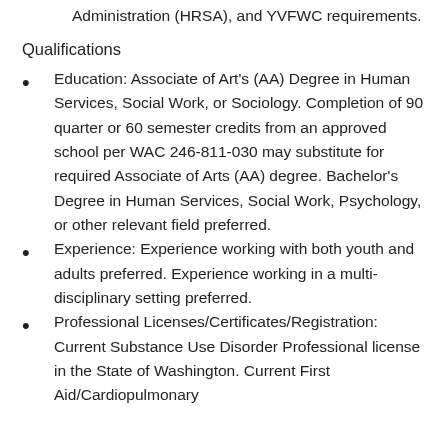Administration (HRSA), and YVFWC requirements.
Qualifications
Education: Associate of Art's (AA) Degree in Human Services, Social Work, or Sociology. Completion of 90 quarter or 60 semester credits from an approved school per WAC 246-811-030 may substitute for required Associate of Arts (AA) degree. Bachelor's Degree in Human Services, Social Work, Psychology, or other relevant field preferred.
Experience: Experience working with both youth and adults preferred. Experience working in a multi-disciplinary setting preferred.
Professional Licenses/Certificates/Registration: Current Substance Use Disorder Professional license in the State of Washington. Current First Aid/Cardiopulmonary